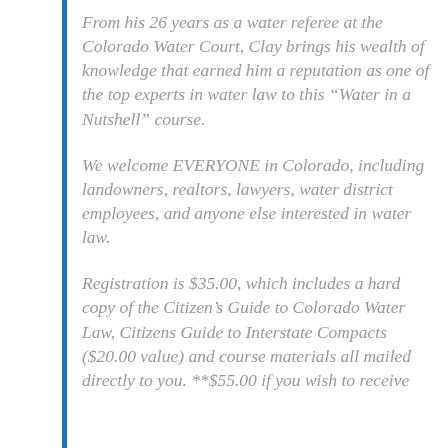From his 26 years as a water referee at the Colorado Water Court, Clay brings his wealth of knowledge that earned him a reputation as one of the top experts in water law to this “Water in a Nutshell” course.
We welcome EVERYONE in Colorado, including landowners, realtors, lawyers, water district employees, and anyone else interested in water law.
Registration is $35.00, which includes a hard copy of the Citizen’s Guide to Colorado Water Law, Citizens Guide to Interstate Compacts ($20.00 value) and course materials all mailed directly to you. **$55.00 if you wish to receive Continuing Education Credits. And the